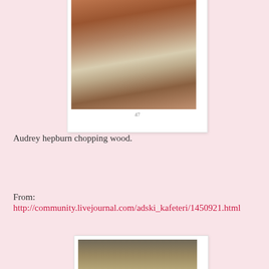[Figure (photo): Photograph showing logs and wood chopping scene, partially cropped at top, mounted in white photo frame border with page number visible at bottom of frame]
Audrey hepburn chopping wood.
From:
http://community.livejournal.com/adski_kafeteri/1450921.html
[Figure (photo): Sepia-toned vintage photograph of a bald person with glasses, mounted in white photo frame, partially visible at bottom of page]